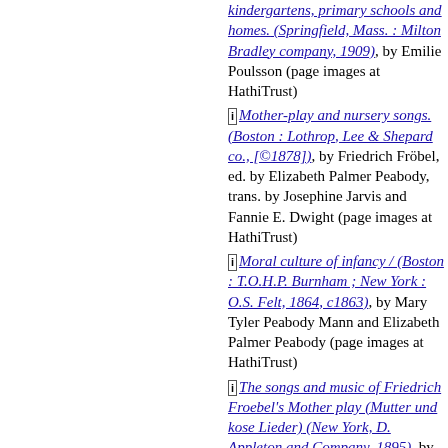kindergartens, primary schools and homes. (Springfield, Mass. : Milton Bradley company, 1909), by Emilie Poulsson (page images at HathiTrust)
[i] Mother-play and nursery songs. (Boston : Lothrop, Lee & Shepard co., [©1878]), by Friedrich Fröbel, ed. by Elizabeth Palmer Peabody, trans. by Josephine Jarvis and Fannie E. Dwight (page images at HathiTrust)
[i] Moral culture of infancy / (Boston : T.O.H.P. Burnham ; New York : O.S. Felt, 1864, c1863), by Mary Tyler Peabody Mann and Elizabeth Palmer Peabody (page images at HathiTrust)
[i] The songs and music of Friedrich Froebel's Mother play (Mutter und kose Lieder) (New York, D. Appleton and Company, 1895), by Friedrich